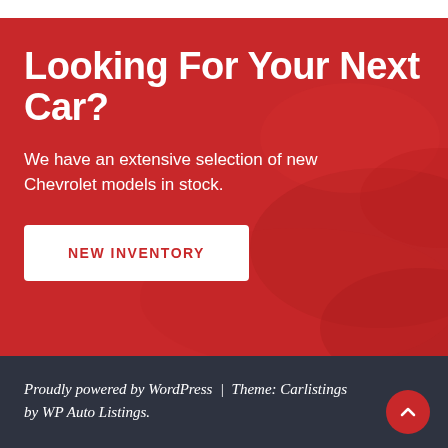Looking For Your Next Car?
We have an extensive selection of new Chevrolet models in stock.
NEW INVENTORY
Proudly powered by WordPress  |  Theme: Carlistings by WP Auto Listings.